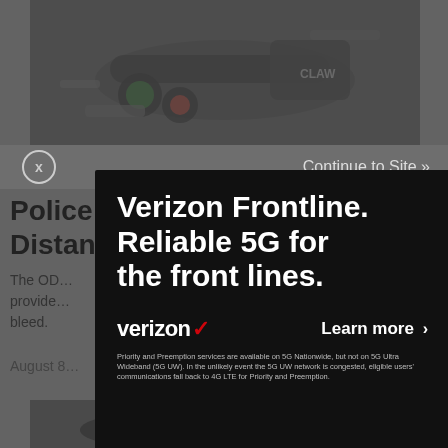[Figure (photo): Dark product photo showing tactical tools/torches on dark background]
Continue to Site »
Police B... 0 Long Distanc...
The OD... mics provide... ight bleed.
August 8...
[Figure (screenshot): Verizon Frontline advertisement overlay on black background. Headline: Verizon Frontline. Reliable 5G for the front lines. Verizon logo with Learn more > button. Disclaimer text about Priority and Preemption services on 5G Nationwide.]
[Figure (photo): Dark product photo at bottom of page]